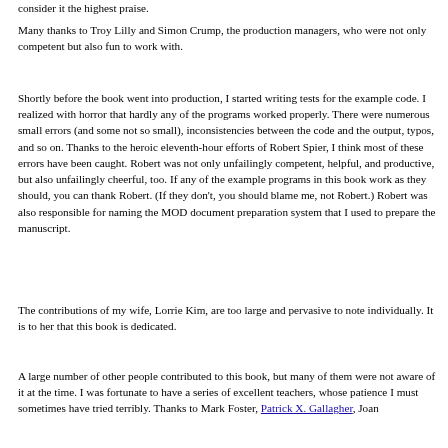consider it the highest praise.
Many thanks to Troy Lilly and Simon Crump, the production managers, who were not only competent but also fun to work with.
Shortly before the book went into production, I started writing tests for the example code. I realized with horror that hardly any of the programs worked properly. There were numerous small errors (and some not so small), inconsistencies between the code and the output, typos, and so on. Thanks to the heroic eleventh-hour efforts of Robert Spier, I think most of these errors have been caught. Robert was not only unfailingly competent, helpful, and productive, but also unfailingly cheerful, too. If any of the example programs in this book work as they should, you can thank Robert. (If they don't, you should blame me, not Robert.) Robert was also responsible for naming the MOD document preparation system that I used to prepare the manuscript.
The contributions of my wife, Lorrie Kim, are too large and pervasive to note individually. It is to her that this book is dedicated.
A large number of other people contributed to this book, but many of them were not aware of it at the time. I was fortunate to have a series of excellent teachers, whose patience I must sometimes have tried terribly. Thanks to Mark Foster, Patrick X. Gallagher, Joan